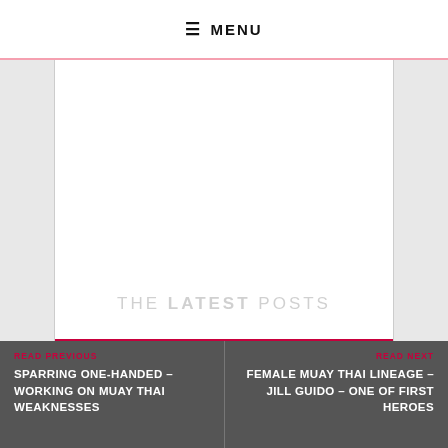≡ MENU
[Figure (other): White blank content area with light gray side panels and a crimson horizontal rule at the bottom. Faint text 'THE LATEST POSTS' overlaid in center.]
THE LATEST POSTS
READ PREVIOUS
SPARRING ONE-HANDED – WORKING ON MUAY THAI WEAKNESSES
READ NEXT
FEMALE MUAY THAI LINEAGE – JILL GUIDO – ONE OF FIRST HEROES